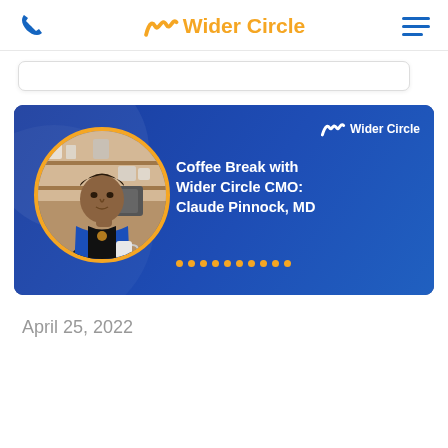Wider Circle
[Figure (photo): Wider Circle branded banner featuring a circular photo of a man in a blue vest holding a coffee mug, with text 'Coffee Break with Wider Circle CMO: Claude Pinnock, MD' on a dark blue background with orange accent dots and Wider Circle logo]
April 25, 2022